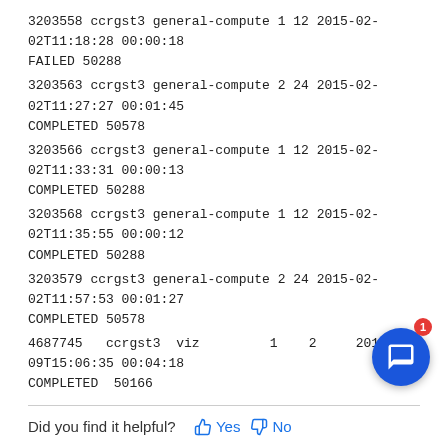3203558 ccrgst3 general-compute 1 12 2015-02-02T11:18:28 00:00:18 FAILED 50288
3203563 ccrgst3 general-compute 2 24 2015-02-02T11:27:27 00:01:45 COMPLETED 50578
3203566 ccrgst3 general-compute 1 12 2015-02-02T11:33:31 00:00:13 COMPLETED 50288
3203568 ccrgst3 general-compute 1 12 2015-02-02T11:35:55 00:00:12 COMPLETED 50288
3203579 ccrgst3 general-compute 2 24 2015-02-02T11:57:53 00:01:27 COMPLETED 50578
4687745  ccrgst3  viz         1    2     2015-11-09T15:06:35 00:04:18 COMPLETED  50166
Did you find it helpful?
Yes
No
Related Articles
How do I monitor a running job?
Batch Computing (SLURM Workload Manager)